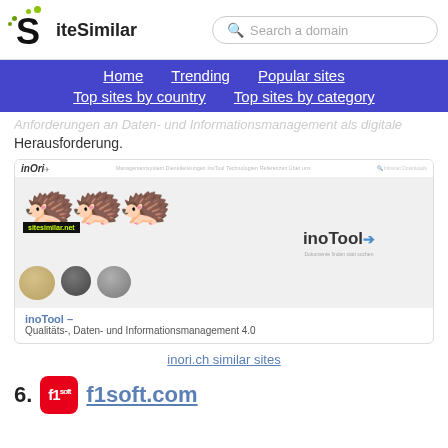SiteSimilar | Search a domain
Home  Trending  Popular sites  Top sites by country  Top sites by category
Herausforderung.
[Figure (screenshot): Screenshot of inori.ch website showing the inoTool product page with creature illustrations and sitesimilar.net watermark]
inoTool – Qualitäts-, Daten- und Informationsmanagement 4.0
inori.ch similar sites
36. f1soft.com